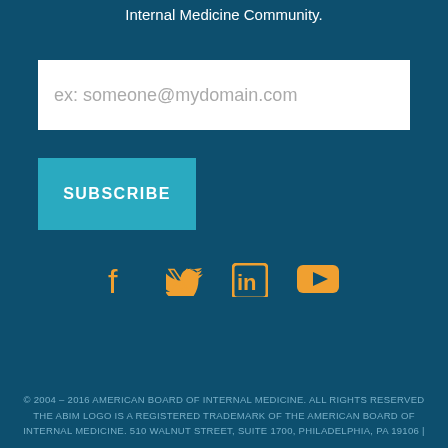Internal Medicine Community.
[Figure (other): Email input field with placeholder text 'ex: someone@mydomain.com']
[Figure (other): Subscribe button in teal/cyan color with white bold text 'SUBSCRIBE']
[Figure (other): Social media icons in orange: Facebook, Twitter, LinkedIn, YouTube]
© 2004 – 2016 AMERICAN BOARD OF INTERNAL MEDICINE. ALL RIGHTS RESERVED THE ABIM LOGO IS A REGISTERED TRADEMARK OF THE AMERICAN BOARD OF INTERNAL MEDICINE. 510 WALNUT STREET, SUITE 1700, PHILADELPHIA, PA 19106 |